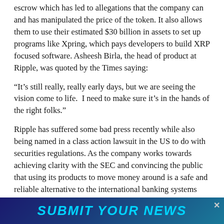escrow which has led to allegations that the company can and has manipulated the price of the token. It also allows them to use their estimated $30 billion in assets to set up programs like Xpring, which pays developers to build XRP focused software. Asheesh Birla, the head of product at Ripple, was quoted by the Times saying:
“It’s still really, really early days, but we are seeing the vision come to life.  I need to make sure it’s in the hands of the right folks.”
Ripple has suffered some bad press recently while also being named in a class action lawsuit in the US to do with securities regulations. As the company works towards achieving clarity with the SEC and convincing the public that using its products to move money around is a safe and reliable alternative to the international banking systems gaining publicity through donations
SUBMIT YOUR NEWS